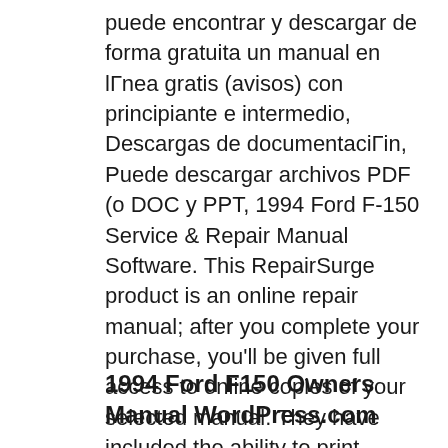puede encontrar y descargar de forma gratuita un manual en lГnea gratis (avisos) con principiante e intermedio, Descargas de documentaciГin, Puede descargar archivos PDF (o DOC y PPT, 1994 Ford F-150 Service & Repair Manual Software. This RepairSurge product is an online repair manual; after you complete your purchase, you'll be given full access to online copies of your selected manual. They have included the ability to print certain parts of the manual or save pages of the manual to PDF..
1994 Ford F150 Owners Manual WordPress.com